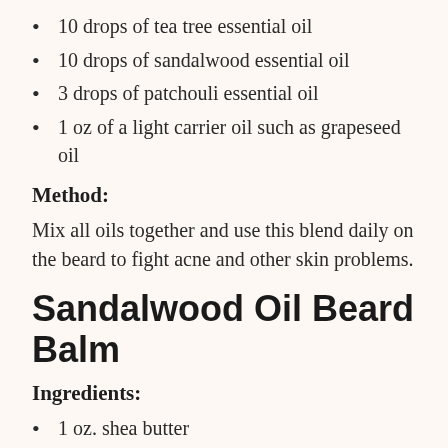10 drops of tea tree essential oil
10 drops of sandalwood essential oil
3 drops of patchouli essential oil
1 oz of a light carrier oil such as grapeseed oil
Method:
Mix all oils together and use this blend daily on the beard to fight acne and other skin problems.
Sandalwood Oil Beard Balm
Ingredients:
1 oz. shea butter
1 oz beeswax
1 oz. jojoba oil
1 oz sweet almond oil
1 oz. coconut oil